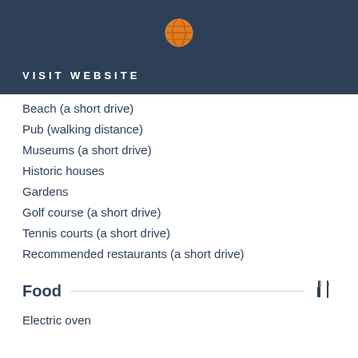VISIT WEBSITE
Beach (a short drive)
Pub (walking distance)
Museums (a short drive)
Historic houses
Gardens
Golf course (a short drive)
Tennis courts (a short drive)
Recommended restaurants (a short drive)
Food
Electric oven